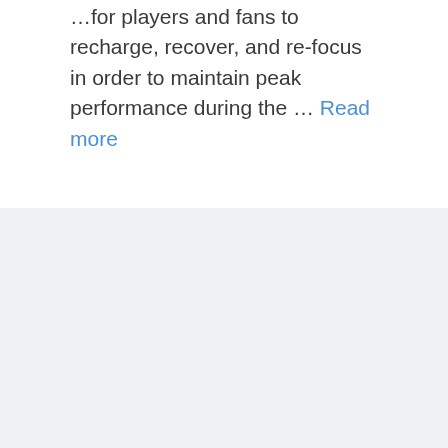...for players and fans to recharge, recover, and re-focus in order to maintain peak performance during the … Read more
Basketball
Leave a comment